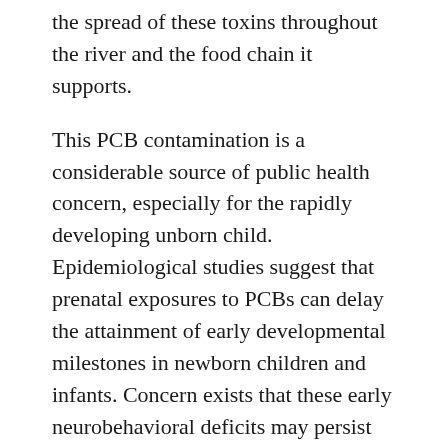the spread of these toxins throughout the river and the food chain it supports.
This PCB contamination is a considerable source of public health concern, especially for the rapidly developing unborn child. Epidemiological studies suggest that prenatal exposures to PCBs can delay the attainment of early developmental milestones in newborn children and infants. Concern exists that these early neurobehavioral deficits may persist lifelong. To protect newborns in New York against the deleterious effects of early PCB exposures, state and federal authorities have issued warnings to women of childbearing age to avoid consumption of fish from the Hudson River, as these fish bioaccumulate PCBs in their tissues.
A major unresolved question involves the extent to